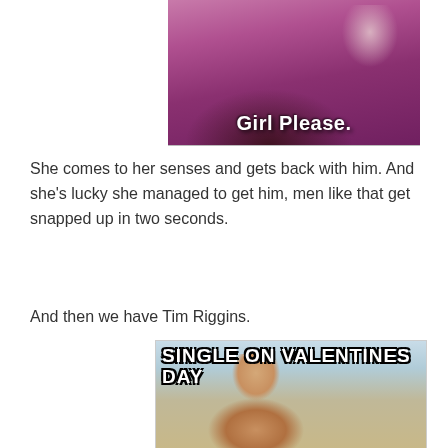[Figure (photo): A woman in a purple/dark pink top with long dark hair, with text overlay reading 'Girl Please.' in bold white font at the bottom of the image.]
She comes to her senses and gets back with him. And she's lucky she managed to get him, men like that get snapped up in two seconds.
And then we have Tim Riggins.
[Figure (photo): A shirtless young man with long wavy brown hair smiling at the camera, with bold white/black outlined text overlay at the top reading 'SINGLE ON VALENTINES DAY'.]